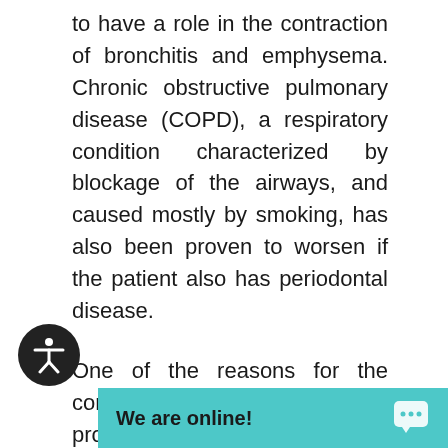to have a role in the contraction of bronchitis and emphysema. Chronic obstructive pulmonary disease (COPD), a respiratory condition characterized by blockage of the airways, and caused mostly by smoking, has also been proven to worsen if the patient also has periodontal disease.
One of the reasons for the connection between respiratory problems and periodontal disease is low immunity. Patients who experience respiratory problems generally have low immunity, meaning bacteria can easily grow above and below the gum lines without being confronted by th... Once periodontal...